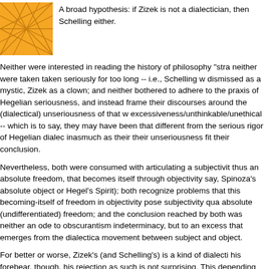[Figure (logo): Orange geometric logo with intersecting diagonal lines on an orange background]
A broad hypothesis: if Zizek is not a dialectician, then Schelling either.
Neither were interested in reading the history of philosophy "stra neither were taken taken seriously for too long -- i.e., Schelling w dismissed as a mystic, Zizek as a clown; and neither bothered to adhere to the praxis of Hegelian seriousness, and instead frame their discourses around the (dialectical) unseriousness of that w excessiveness/unthinkable/unethical -- which is to say, they may have been that different from the serious rigor of Hegelian diale inasmuch as their their unseriousness fit their conclusion.
Nevertheless, both were consumed with articulating a subjectivit thus an absolute freedom, that becomes itself through objectivity say, Spinoza's absolute object or Hegel's Spirit); both recognize problems that this becoming-itself of freedom in objectivity pose subjectivity qua absolute (undifferentiated) freedom; and the conclusion reached by both was neither an ode to obscurantism indeterminacy, but to an excess that emerges from the dialectica movement between subject and object.
For better or worse, Zizek's (and Schelling's) is a kind of dialecti his forebear, though, his rejection as such is not surprising. This depending on how you regard Schelling, either a plus or a nega his scorecard.